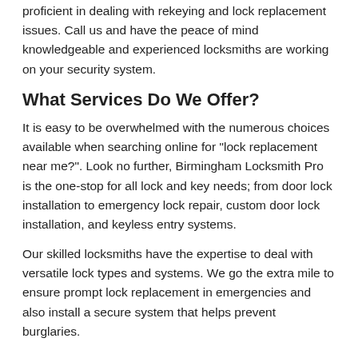proficient in dealing with rekeying and lock replacement issues. Call us and have the peace of mind knowledgeable and experienced locksmiths are working on your security system.
What Services Do We Offer?
It is easy to be overwhelmed with the numerous choices available when searching online for "lock replacement near me?". Look no further, Birmingham Locksmith Pro is the one-stop for all lock and key needs; from door lock installation to emergency lock repair, custom door lock installation, and keyless entry systems.
Our skilled locksmiths have the expertise to deal with versatile lock types and systems. We go the extra mile to ensure prompt lock replacement in emergencies and also install a secure system that helps prevent burglaries.